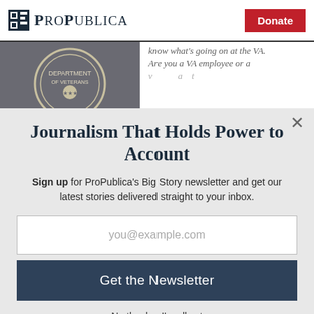ProPublica | Donate
[Figure (screenshot): ProPublica webpage background showing a Department of Veterans Affairs seal/coin image on the left and italic text 'know what's going on at the VA. Are you a VA employee or a...' on the right, partially obscured by modal overlay.]
Journalism That Holds Power to Account
Sign up for ProPublica's Big Story newsletter and get our latest stories delivered straight to your inbox.
you@example.com
Get the Newsletter
No thanks, I'm all set
This site is protected by reCAPTCHA and the Google Privacy Policy and Terms of Service apply.